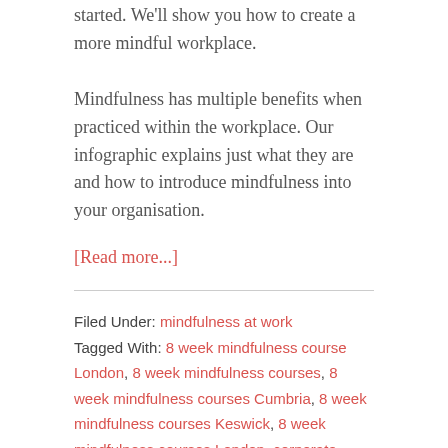started. We'll show you how to create a more mindful workplace.
Mindfulness has multiple benefits when practiced within the workplace. Our infographic explains just what they are and how to introduce mindfulness into your organisation.
[Read more...]
Filed Under: mindfulness at work
Tagged With: 8 week mindfulness course London, 8 week mindfulness courses, 8 week mindfulness courses Cumbria, 8 week mindfulness courses Keswick, 8 week mindfulness courses London, corporate resilience training, corporate resilience training London, Gill Crossland Thackray corporate resilience expert, Gill